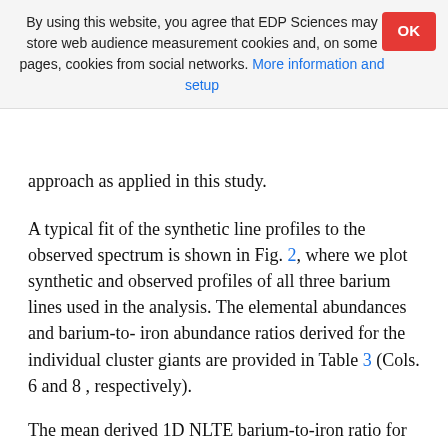By using this website, you agree that EDP Sciences may store web audience measurement cookies and, on some pages, cookies from social networks. More information and setup
approach as applied in this study.
A typical fit of the synthetic line profiles to the observed spectrum is shown in Fig. 2, where we plot synthetic and observed profiles of all three barium lines used in the analysis. The elemental abundances and barium-to-iron abundance ratios derived for the individual cluster giants are provided in Table 3 (Cols. 6 and 8 , respectively).
The mean derived 1D NLTE barium-to-iron ratio for the 20 cluster red giants is ⟨[Ba/Fe]⟩ 1D NLTE = 0.05 ± 0.06 ± 0.08. The first error is the square root of the variance in ⟨[Ba/Fe]⟩1D NLTE